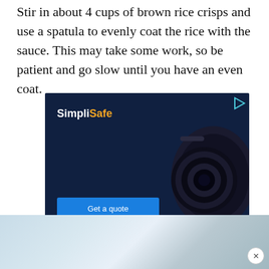Stir in about 4 cups of brown rice crisps and use a spatula to evenly coat the rice with the sauce. This may take some work, so be patient and go slow until you have an even coat.
[Figure (screenshot): SimpliSafe advertisement banner with dark navy background, showing a security camera on the right side, SimpliSafe logo in white and orange text on the left, and a blue 'Get a quote' button at the bottom left. A play icon appears in the top right corner.]
[Figure (photo): Partial photo strip at the bottom of the page showing a blurred blue-white background with a close/X button in the bottom right corner.]